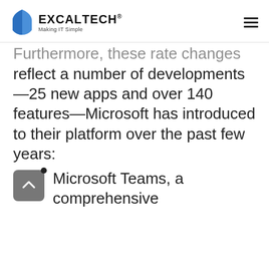ExcalTech® Making IT Simple
Furthermore, these rate changes reflect a number of developments—25 new apps and over 140 features—Microsoft has introduced to their platform over the past few years:
Microsoft Teams, a comprehensive